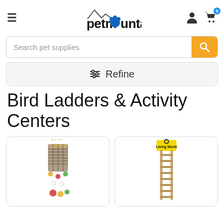[Figure (screenshot): PetMountain website header with hamburger menu, logo with mountain icon and blue paw prints, user account icon, and shopping cart icon with blue badge showing 0]
[Figure (screenshot): Search bar with placeholder text 'Search pet supplies' and an orange search button with magnifying glass icon]
[Figure (screenshot): Refine filter button with sliders icon and text 'Refine' on a light grey background with rounded border]
Bird Ladders & Activity Centers
[Figure (photo): Bird toy product — a woven rope and grass climbing toy with colorful beads and wooden pieces, partially visible, cut off at bottom]
[Figure (photo): Bird ladder product — a tall wooden ladder toy with yellow/black packaging hanger at top, partially visible, cut off at bottom]